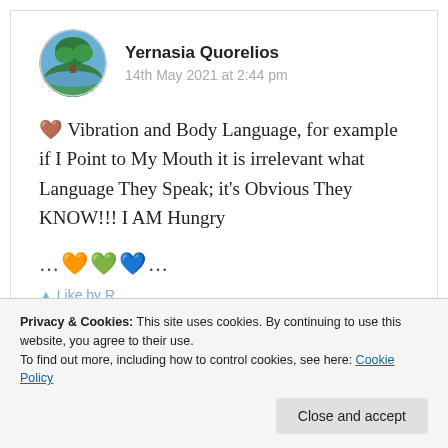[Figure (photo): Circular avatar image showing a tree on an island with blue sky and water background]
Yernasia Quorelios
14th May 2021 at 2:44 pm
💜 Vibration and Body Language, for example if I Point to My Mouth it is irrelevant what Language They Speak; it's Obvious They KNOW!!! I AM Hungry
…🧡💚💙…
Privacy & Cookies: This site uses cookies. By continuing to use this website, you agree to their use.
To find out more, including how to control cookies, see here: Cookie Policy
Close and accept